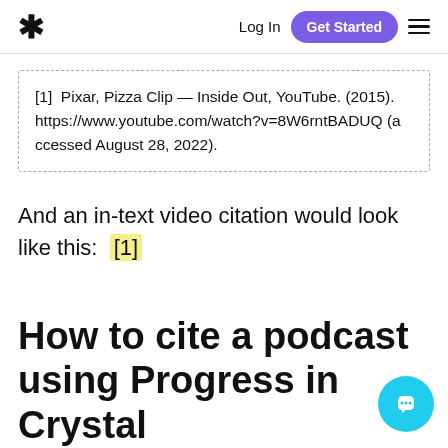* Log In  Get Started  ☰
[1]  Pixar, Pizza Clip — Inside Out, YouTube. (2015). https://www.youtube.com/watch?v=8W6rntBADUQ (accessed August 28, 2022).
And an in-text video citation would look like this:  [1]
How to cite a podcast using Progress in Crystal